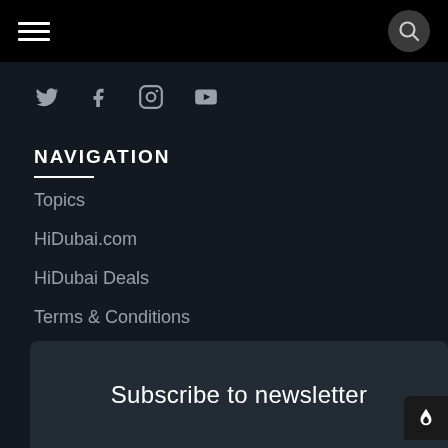Hamburger menu and search button top bar
[Figure (infographic): Social media icons row: Twitter, Facebook, Instagram, YouTube]
NAVIGATION
Topics
HiDubai.com
HiDubai Deals
Terms & Conditions
Privacy Policy
Subscribe to newsletter